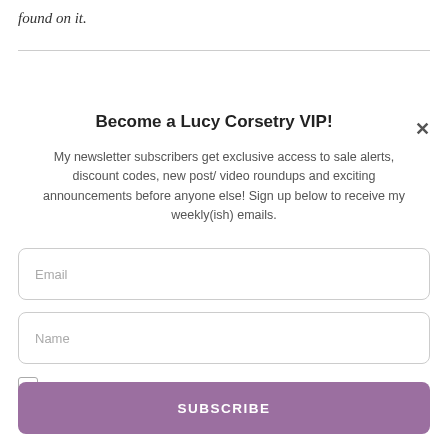found on it.
Become a Lucy Corsetry VIP!
My newsletter subscribers get exclusive access to sale alerts, discount codes, new post/ video roundups and exciting announcements before anyone else! Sign up below to receive my weekly(ish) emails.
Email
Name
Opt in to receive news and updates.
SUBSCRIBE